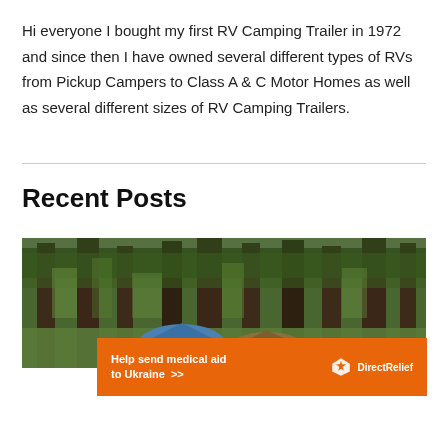Hi everyone I bought my first RV Camping Trailer in 1972 and since then I have owned several different types of RVs from Pickup Campers to Class A & C Motor Homes as well as several different sizes of RV Camping Trailers.
Recent Posts
[Figure (photo): Outdoor forest camping scene with tall pine trees and tents visible in background]
[Figure (other): Orange advertisement banner reading 'Help send medical aid to Ukraine >>' with Direct Relief logo on right]